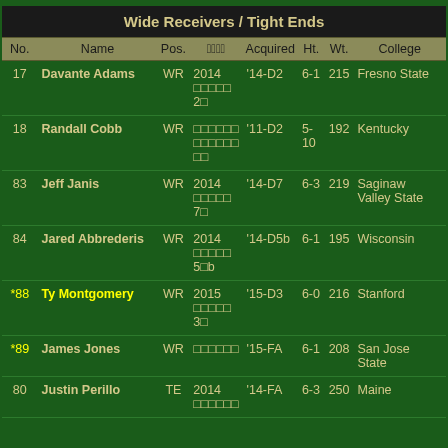| No. | Name | Pos. | ???? | Acquired | Ht. | Wt. | College |
| --- | --- | --- | --- | --- | --- | --- | --- |
| 17 | Davante Adams | WR | 2014 ????? 2? | '14-D2 | 6-1 | 215 | Fresno State |
| 18 | Randall Cobb | WR | ?????? ?????? ?? | '11-D2 | 5-10 | 192 | Kentucky |
| 83 | Jeff Janis | WR | 2014 ????? 7? | '14-D7 | 6-3 | 219 | Saginaw Valley State |
| 84 | Jared Abbrederis | WR | 2014 ????? 5?b | '14-D5b | 6-1 | 195 | Wisconsin |
| *88 | Ty Montgomery | WR | 2015 ????? 3? | '15-D3 | 6-0 | 216 | Stanford |
| *89 | James Jones | WR | ??????  | '15-FA | 6-1 | 208 | San Jose State |
| 80 | Justin Perillo | TE | 2014 ?????? | '14-FA | 6-3 | 250 | Maine |